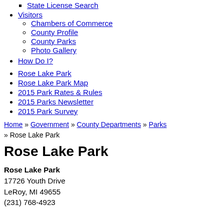State License Search
Visitors
Chambers of Commerce
County Profile
County Parks
Photo Gallery
How Do I?
Rose Lake Park
Rose Lake Park Map
2015 Park Rates & Rules
2015 Parks Newsletter
2015 Park Survey
Home » Government » County Departments » Parks » Rose Lake Park
Rose Lake Park
Rose Lake Park
17726 Youth Drive
LeRoy, MI 49655
(231) 768-4923